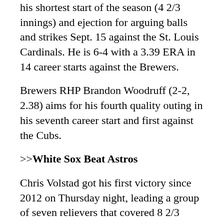his shortest start of the season (4 2/3 innings) and ejection for arguing balls and strikes Sept. 15 against the St. Louis Cardinals. He is 6-4 with a 3.39 ERA in 14 career starts against the Brewers.
Brewers RHP Brandon Woodruff (2-2, 2.38) aims for his fourth quality outing in his seventh career start and first against the Cubs.
>>White Sox Beat Astros
Chris Volstad got his first victory since 2012 on Thursday night, leading a group of seven relievers that covered 8 2/3 innings as Chicago beat the Houston Astros 3-1.
Volstad (1-0) entered after starter Carson Fulmer was pulled with a blister on his right index finger.
[Figure (logo): Chicago White Sox interlocking 'SOX' logo in black]